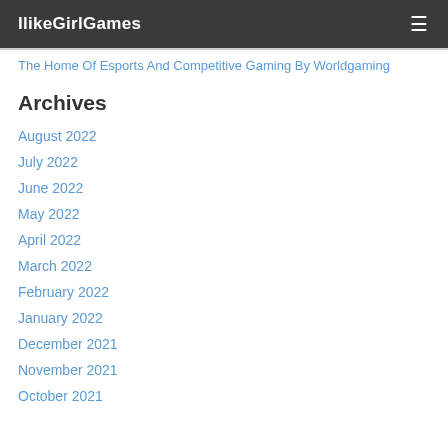IlikeGirlGames
The Home Of Esports And Competitive Gaming By Worldgaming
Archives
August 2022
July 2022
June 2022
May 2022
April 2022
March 2022
February 2022
January 2022
December 2021
November 2021
October 2021